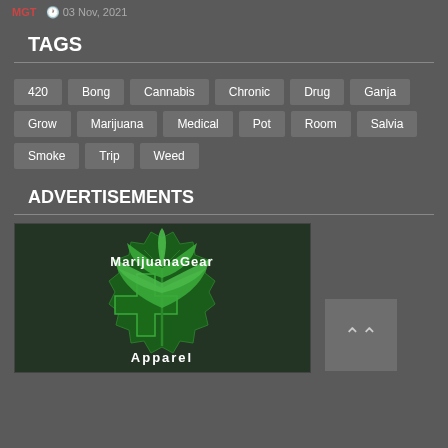MGT  03 Nov, 2021
TAGS
420
Bong
Cannabis
Chronic
Drug
Ganja
Grow
Marijuana
Medical
Pot
Room
Salvia
Smoke
Trip
Weed
ADVERTISEMENTS
[Figure (logo): MarijuanaGear Apparel logo with green cannabis leaf and gear design on dark background]